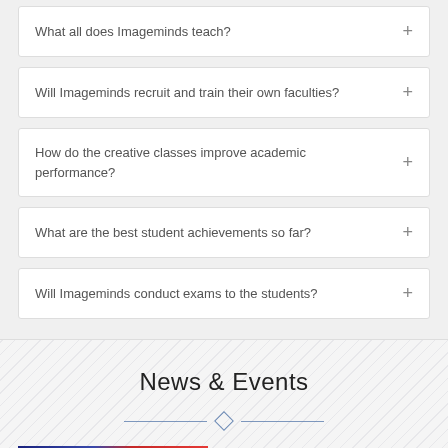What all does Imageminds teach?
Will Imageminds recruit and train their own faculties?
How do the creative classes improve academic performance?
What are the best student achievements so far?
Will Imageminds conduct exams to the students?
News & Events